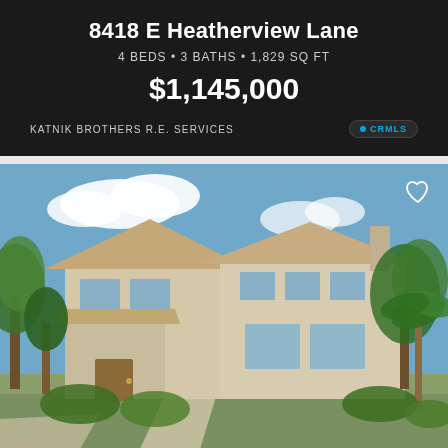8418 E Heatherview Lane
4 BEDS • 3 BATHS • 1,829 SQ FT
$1,145,000
KATNIK BROTHERS R.E. SERVICES
[Figure (photo): Exterior photo of a two-story beige stucco residential home surrounded by trees and landscaping under a blue sky with clouds.]